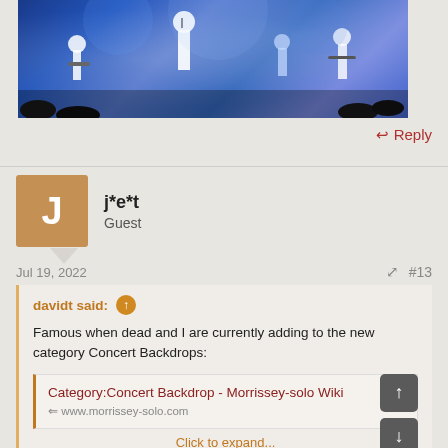[Figure (photo): Concert photo showing musicians on stage with blue/purple lighting]
↩ Reply
j*e*t
Guest
Jul 19, 2022  #13
davidt said: ↑
Famous when dead and I are currently adding to the new category Concert Backdrops:
Category:Concert Backdrop - Morrissey-solo Wiki
www.morrissey-solo.com
Click to expand...